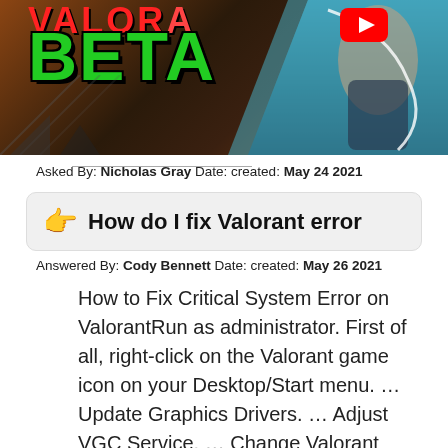[Figure (screenshot): Valorant Beta YouTube thumbnail with green BETA text and game character]
Asked By: Nicholas Gray Date: created: May 24 2021
How do I fix Valorant error
Answered By: Cody Bennett Date: created: May 26 2021
How to Fix Critical System Error on ValorantRun as administrator. First of all, right-click on the Valorant game icon on your Desktop/Start menu. … Update Graphics Drivers. … Adjust VGC Service. … Change Valorant Launch Option. … Restore Clockspeed to Default. … Uninstall MSI Afterburner